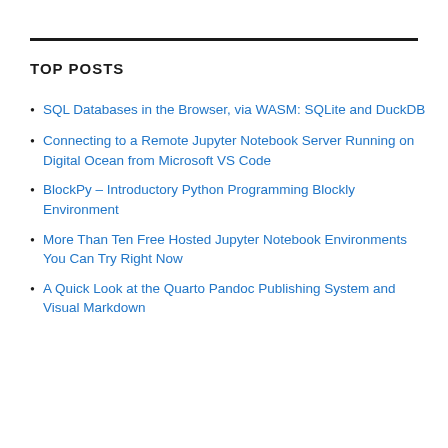TOP POSTS
SQL Databases in the Browser, via WASM: SQLite and DuckDB
Connecting to a Remote Jupyter Notebook Server Running on Digital Ocean from Microsoft VS Code
BlockPy – Introductory Python Programming Blockly Environment
More Than Ten Free Hosted Jupyter Notebook Environments You Can Try Right Now
A Quick Look at the Quarto Pandoc Publishing System and Visual Markdown